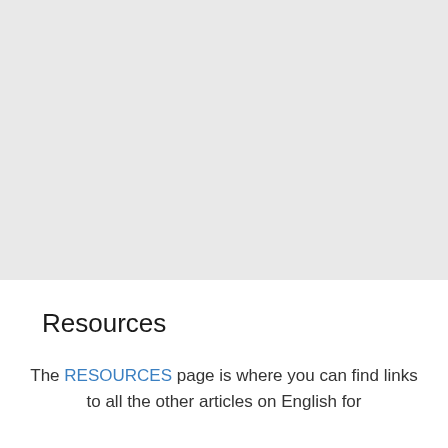[Figure (other): Large light gray rectangular area, appears to be a placeholder or image region occupying the top portion of the page.]
Resources
The RESOURCES page is where you can find links to all the other articles on English for